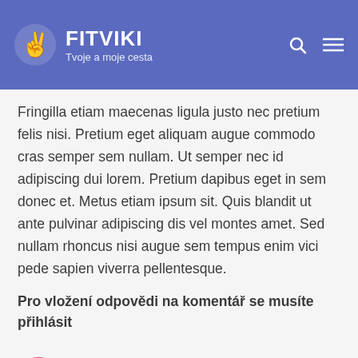FITVIKI — Tvoje a moje cesta
Fringilla etiam maecenas ligula justo nec pretium felis nisi. Pretium eget aliquam augue commodo cras semper sem nullam. Ut semper nec id adipiscing dui lorem. Pretium dapibus eget in sem donec et. Metus etiam ipsum sit. Quis blandit ut ante pulvinar adipiscing dis vel montes amet. Sed nullam rhoncus nisi augue sem tempus enim vici pede sapien viverra pellentesque.
Pro vložení odpovědi na komentář se musíte přihlásit
Daniel
26/01/2017 (10:45)
Nulla laoreet vestibulum turpis non finibus.